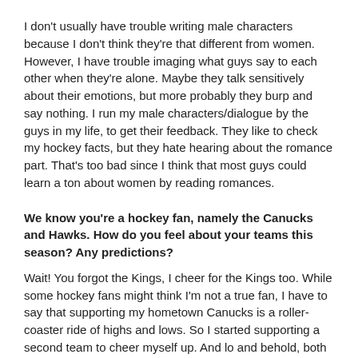I don't usually have trouble writing male characters because I don't think they're that different from women. However, I have trouble imaging what guys say to each other when they're alone. Maybe they talk sensitively about their emotions, but more probably they burp and say nothing. I run my male characters/dialogue by the guys in my life, to get their feedback. They like to check my hockey facts, but they hate hearing about the romance part. That's too bad since I think that most guys could learn a ton about women by reading romances.
We know you're a hockey fan, namely the Canucks and Hawks. How do you feel about your teams this season? Any predictions?
Wait! You forgot the Kings, I cheer for the Kings too. While some hockey fans might think I'm not a true fan, I have to say that supporting my hometown Canucks is a roller-coaster ride of highs and lows. So I started supporting a second team to cheer myself up. And lo and behold, both my second teams have won cups! Why doesn't my magic work for the Canucks?
I'm too emotionally involved to make predictions or bets, so it's better if I pass on that. I have my secret hopes though.